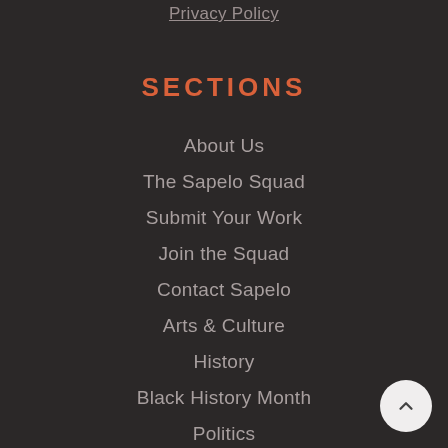Privacy Policy
SECTIONS
About Us
The Sapelo Squad
Submit Your Work
Join the Squad
Contact Sapelo
Arts & Culture
History
Black History Month
Politics